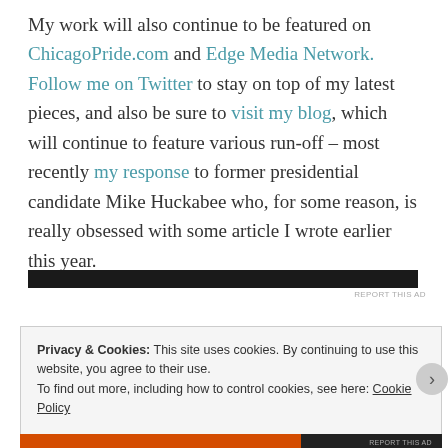My work will also continue to be featured on ChicagoPride.com and Edge Media Network. Follow me on Twitter to stay on top of my latest pieces, and also be sure to visit my blog, which will continue to feature various run-off – most recently my response to former presidential candidate Mike Huckabee who, for some reason, is really obsessed with some article I wrote earlier this year.
[Figure (other): Dark advertisement bar with 'REPORT THIS AD' label]
Privacy & Cookies: This site uses cookies. By continuing to use this website, you agree to their use. To find out more, including how to control cookies, see here: Cookie Policy
Close and accept